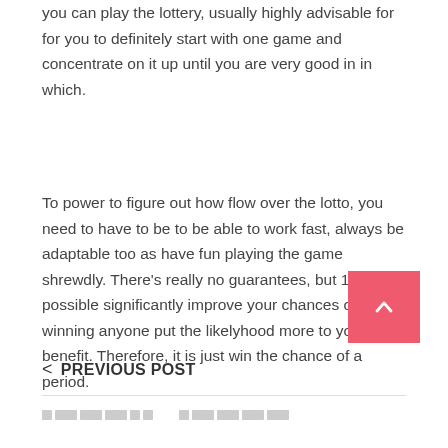you can play the lottery, usually highly advisable for for you to definitely start with one game and concentrate on it up until you are very good in in which.
To power to figure out how flow over the lotto, you need to have to be to be able to work fast, always be adaptable too as have fun playing the game shrewdly. There’s really no guarantees, but 100 % possible significantly improve your chances of winning anyone put the likelyhood more to your benefit. Therefore, it is just win the chance of a period.
< PREVIOUS POST